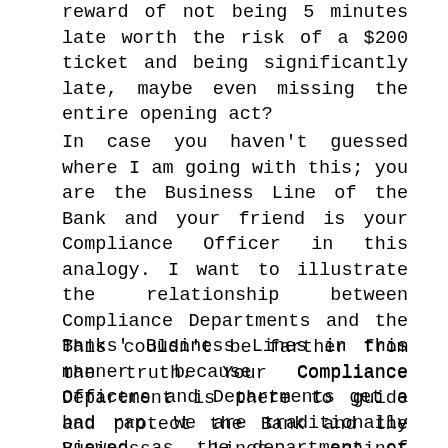reward of not being 5 minutes late worth the risk of a $200 ticket and being significantly late, maybe even missing the entire opening act?
In case you haven't guessed where I am going with this; you are the Business Line of the Bank and your friend is your Compliance Officer in this analogy. I want to illustrate the relationship between Compliance Departments and the Banks' Business Lines in this manner because Compliance Officers and Departments get a bad rap. We are traditionally viewed as the department of "NO;" trying to do everything we can to make certain the Business Line can't operate efficiently or make a profit.
This couldn't be farther from the truth. Your Compliance Department is there to guide and protect the Bank and the Business Lines against compliance risks that could jeopardize not only the product or the Business Line, but the organization as a whole. Millions of dollars in civil monetary